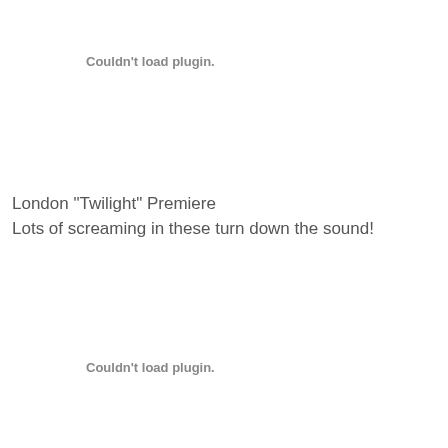Couldn't load plugin.
London "Twilight" Premiere
Lots of screaming in these turn down the sound!
Couldn't load plugin.